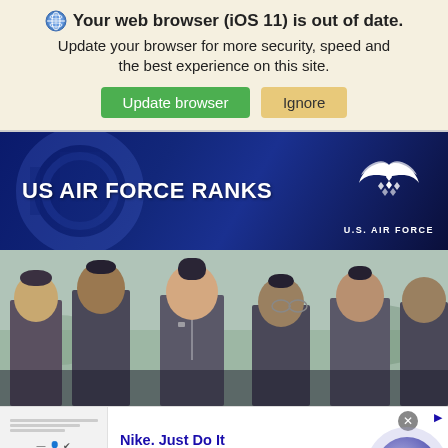🌐 Your web browser (iOS 11) is out of date. Update your browser for more security, speed and the best experience on this site.
Update browser | Ignore
[Figure (photo): US Air Force Ranks banner with dark blue military background and US Air Force logo/wings emblem on right]
[Figure (photo): Military personnel in uniform with service caps, focused female airman in foreground]
[Figure (infographic): Nike advertisement: 'Nike. Just Do It' - Inspiring the world's athletes, Nike delivers the deals - www.nike.com, with circular arrow/play button on the right]